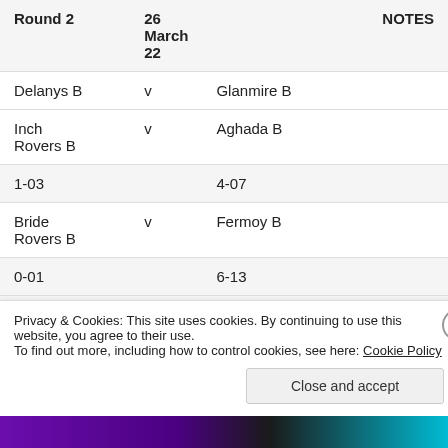| Round 2 | 26 March 22 |  | NOTES |
| --- | --- | --- | --- |
| Delanys B | v | Glanmire B |  |
| Inch Rovers B | v | Aghada B |  |
| 1-03 |  | 4-07 |  |
| Bride Rovers B | v | Fermoy B |  |
| 0-01 |  | 6-13 |  |
|  | 2 April |  | NOTES |
Privacy & Cookies: This site uses cookies. By continuing to use this website, you agree to their use.
To find out more, including how to control cookies, see here: Cookie Policy
Close and accept